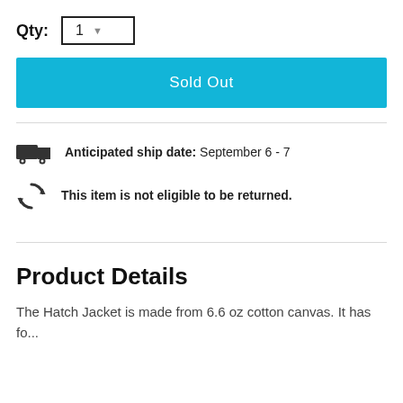Qty: 1
Sold Out
Anticipated ship date: September 6 - 7
This item is not eligible to be returned.
Product Details
The Hatch Jacket is made from 6.6 oz cotton canvas. It has fo...